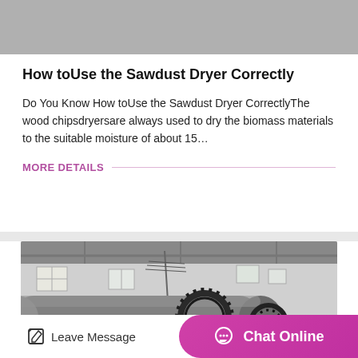[Figure (photo): Gray placeholder image at top of card]
How toUse the Sawdust Dryer Correctly
Do You Know How toUse the Sawdust Dryer CorrectlyThe wood chipsdryersare always used to dry the biomass materials to the suitable moisture of about 15…
MORE DETAILS
[Figure (photo): Industrial machinery photo showing large cylindrical dryer drum with gear ring inside a factory building]
Leave Message
Chat Online